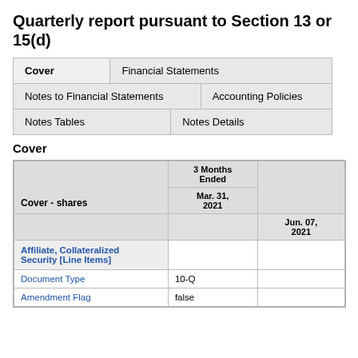Quarterly report pursuant to Section 13 or 15(d)
| Cover | Financial Statements | Notes to Financial Statements | Accounting Policies | Notes Tables | Notes Details |
| --- | --- | --- | --- | --- | --- |
Cover
| Cover - shares | 3 Months Ended Mar. 31, 2021 | Jun. 07, 2021 |
| --- | --- | --- |
| Affiliate, Collateralized Security [Line Items] |  |  |
| Document Type | 10-Q |  |
| Amendment Flag | false |  |